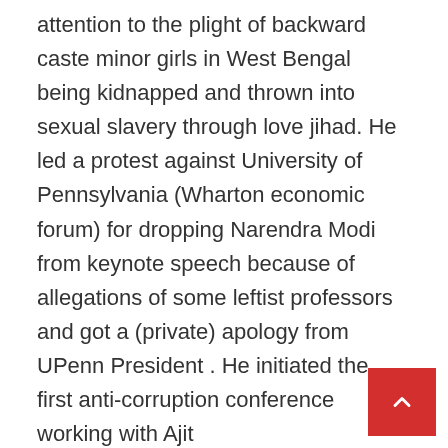attention to the plight of backward caste minor girls in West Bengal being kidnapped and thrown into sexual slavery through love jihad. He led a protest against University of Pennsylvania (Wharton economic forum) for dropping Narendra Modi from keynote speech because of allegations of some leftist professors and got a (private) apology from UPenn President . He initiated the first anti-corruption conference working with Ajit